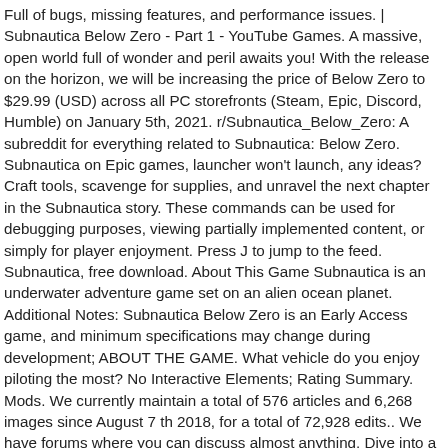Full of bugs, missing features, and performance issues. | Subnautica Below Zero - Part 1 - YouTube Games. A massive, open world full of wonder and peril awaits you! With the release on the horizon, we will be increasing the price of Below Zero to $29.99 (USD) across all PC storefronts (Steam, Epic, Discord, Humble) on January 5th, 2021. r/Subnautica_Below_Zero: A subreddit for everything related to Subnautica: Below Zero. Subnautica on Epic games, launcher won't launch, any ideas? Craft tools, scavenge for supplies, and unravel the next chapter in the Subnautica story. These commands can be used for debugging purposes, viewing partially implemented content, or simply for player enjoyment. Press J to jump to the feed. Subnautica, free download. About This Game Subnautica is an underwater adventure game set on an alien ocean planet. Additional Notes: Subnautica Below Zero is an Early Access game, and minimum specifications may change during development; ABOUT THE GAME. What vehicle do you enjoy piloting the most? No Interactive Elements; Rating Summary. Mods. We currently maintain a total of 576 articles and 6,268 images since August 7 th 2018, for a total of 72,928 edits.. We have forums where you can discuss almost anything. Dive into a freezing underwater adventure on an alien planet. Subnautica Below Zero Resources – Minerals Locations: